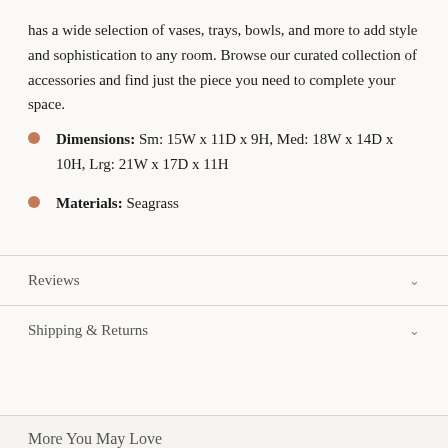has a wide selection of vases, trays, bowls, and more to add style and sophistication to any room. Browse our curated collection of accessories and find just the piece you need to complete your space.
Dimensions: Sm: 15W x 11D x 9H, Med: 18W x 14D x 10H, Lrg: 21W x 17D x 11H
Materials: Seagrass
Reviews
Shipping & Returns
More You May Love